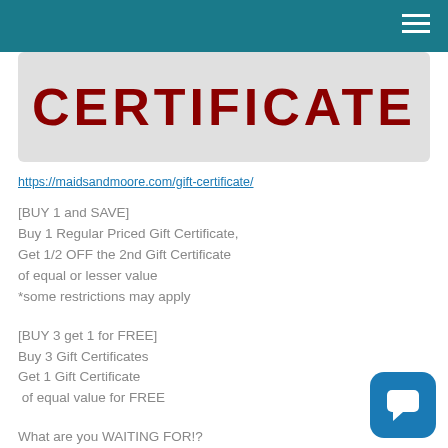[Figure (other): Gift certificate banner image with large dark red text reading CERTIFICATE on a light gray background]
https://maidsandmoore.com/gift-certificate/
[BUY 1 and SAVE]
Buy 1 Regular Priced Gift Certificate,
Get 1/2 OFF the 2nd Gift Certificate
of equal or lesser value
*some restrictions may apply
[BUY 3 get 1 for FREE]
Buy 3 Gift Certificates
Get 1 Gift Certificate
 of equal value for FREE
What are you WAITING FOR!?
Call us now to get yours at
1-844-GOT DUST